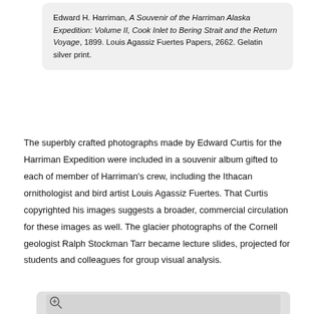Edward H. Harriman, A Souvenir of the Harriman Alaska Expedition: Volume II, Cook Inlet to Bering Strait and the Return Voyage, 1899. Louis Agassiz Fuertes Papers, 2662. Gelatin silver print.
The superbly crafted photographs made by Edward Curtis for the Harriman Expedition were included in a souvenir album gifted to each of member of Harriman's crew, including the Ithacan ornithologist and bird artist Louis Agassiz Fuertes. That Curtis copyrighted his images suggests a broader, commercial circulation for these images as well. The glacier photographs of the Cornell geologist Ralph Stockman Tarr became lecture slides, projected for students and colleagues for group visual analysis.
[Figure (photo): A gelatin silver print photograph, partially visible, showing a light-colored landscape scene with dark lower portion, with a zoom icon in the upper-left corner.]